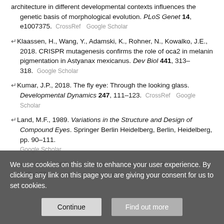architecture in different developmental contexts influences the genetic basis of morphological evolution. PLoS Genet 14, e1007375. CrossRef Google Scholar
Klaassen, H., Wang, Y., Adamski, K., Rohner, N., Kowalko, J.E., 2018. CRISPR mutagenesis confirms the role of oca2 in melanin pigmentation in Astyanax mexicanus. Dev Biol 441, 313–318. Google Scholar
Kumar, J.P., 2018. The fly eye: Through the looking glass. Developmental Dynamics 247, 111–123. CrossRef Google Scholar
Land, M.F., 1989. Variations in the Structure and Design of Compound Eyes. Springer Berlin Heidelberg, Berlin, Heidelberg, pp. 90–111. Google Scholar
Land, M.F., 1997. Visual acuity in insects. Annu Rev Entomol 42, 147–177. CrossRef PubMed Web of Science Google Scholar
We use cookies on this site to enhance your user experience. By clicking any link on this page you are giving your consent for us to set cookies.